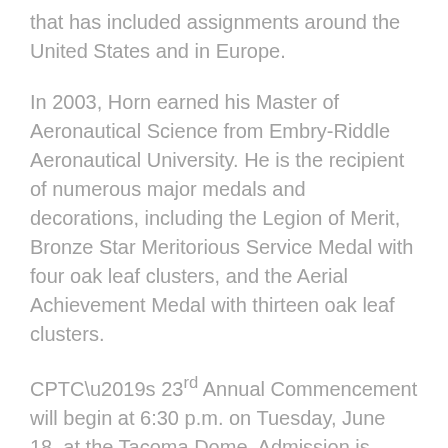that has included assignments around the United States and in Europe.
In 2003, Horn earned his Master of Aeronautical Science from Embry-Riddle Aeronautical University. He is the recipient of numerous major medals and decorations, including the Legion of Merit, Bronze Star Meritorious Service Medal with four oak leaf clusters, and the Aerial Achievement Medal with thirteen oak leaf clusters.
CPTC’s 23rd Annual Commencement will begin at 6:30 p.m. on Tuesday, June 18, at the Tacoma Dome. Admission is open to the public, with doors set to open at 5:30 p.m. The ceremony will celebrate more than 400 graduating students from the college’s 44 programs across two campuses in Lakewood and South Hill.